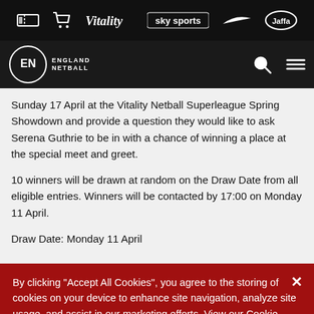[Figure (logo): Sponsor bar with ticket icon, cart icon, Vitality logo, Sky Sports logo, Nike swoosh logo, Jaffa logo on black background]
[Figure (logo): England Netball navigation bar with EN logo on left, search and hamburger menu icons on right]
Sunday 17 April at the Vitality Netball Superleague Spring Showdown and provide a question they would like to ask Serena Guthrie to be in with a chance of winning a place at the special meet and greet.
10 winners will be drawn at random on the Draw Date from all eligible entries. Winners will be contacted by 17:00 on Monday 11 April.
Draw Date: Monday 11 April
By clicking "Accept All Cookies", you agree to the storing of cookies on your device to enhance site navigation, analyze site usage, and assist in our marketing efforts. View our Cookie Policy here - Cookie Policy